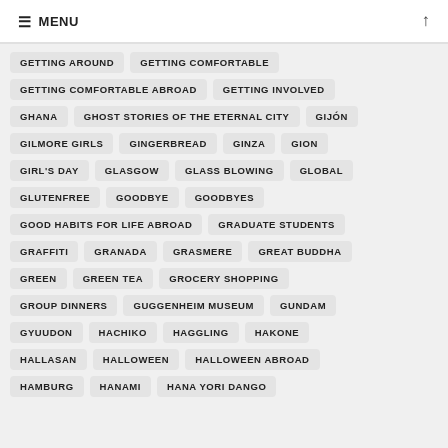MENU
GETTING AROUND
GETTING COMFORTABLE
GETTING COMFORTABLE ABROAD
GETTING INVOLVED
GHANA
GHOST STORIES OF THE ETERNAL CITY
GIJÓN
GILMORE GIRLS
GINGERBREAD
GINZA
GION
GIRL'S DAY
GLASGOW
GLASS BLOWING
GLOBAL
GLUTENFREE
GOODBYE
GOODBYES
GOOD HABITS FOR LIFE ABROAD
GRADUATE STUDENTS
GRAFFITI
GRANADA
GRASMERE
GREAT BUDDHA
GREEN
GREEN TEA
GROCERY SHOPPING
GROUP DINNERS
GUGGENHEIM MUSEUM
GUNDAM
GYUUDON
HACHIKO
HAGGLING
HAKONE
HALLASAN
HALLOWEEN
HALLOWEEN ABROAD
HAMBURG
HANAMI
HANA YORI DANGO